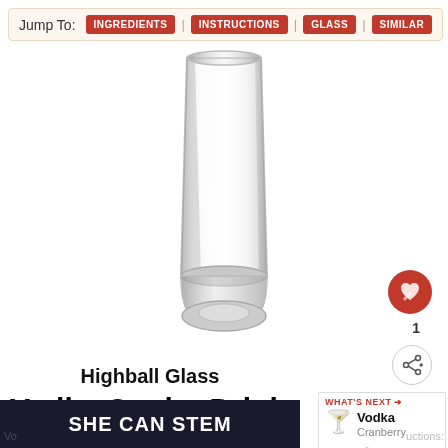Jump To: INGREDIENTS | INSTRUCTIONS | GLASS | SIMILAR
[Figure (photo): A clear highball glass, empty, shown against a white background]
Highball Glass
Vodka Cooler Drink Recipe Instructions
[Figure (infographic): SHE CAN STEM promotional banner in dark navy background with white bold text]
WHAT'S NEXT → Vodka Cranberry